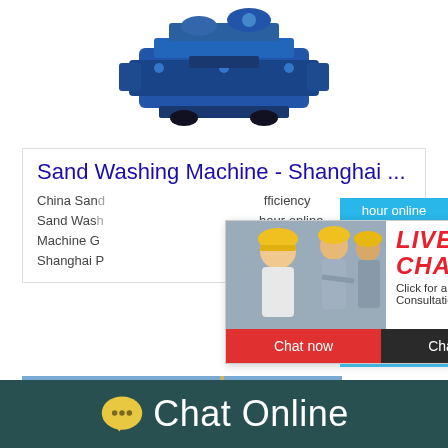[Figure (photo): Blue industrial sand washing machine on white background]
Sand Washing Machine - Shanghai ...
China Sand ... fficiency Sand Wash ... hour online Machine G ... Shanghai P ...
[Figure (screenshot): Live chat popup with workers in yellow hard hats. Text: LIVE CHAT - Click for a Free Consultation. Buttons: Chat now (red), Chat later (dark). Close button top right.]
[Figure (screenshot): Right side panel with blue background showing cone crusher machine and 'Click me to chat>>' button]
[Figure (photo): Construction site photo with crane and building structure]
Chat Online